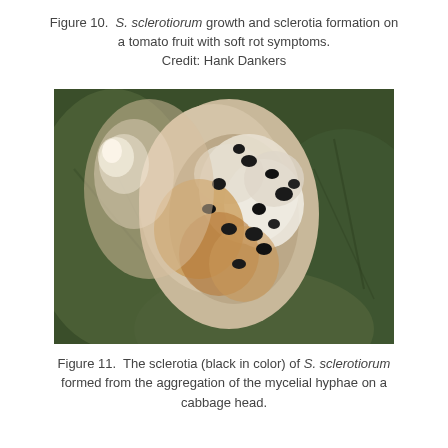Figure 10.  S. sclerotiorum growth and sclerotia formation on a tomato fruit with soft rot symptoms. Credit: Hank Dankers
[Figure (photo): Close-up photograph of a cabbage head showing fungal mycelium and black sclerotia of S. sclerotiorum on decaying plant tissue against a green leaf background.]
Figure 11.  The sclerotia (black in color) of S. sclerotiorum formed from the aggregation of the mycelial hyphae on a cabbage head.